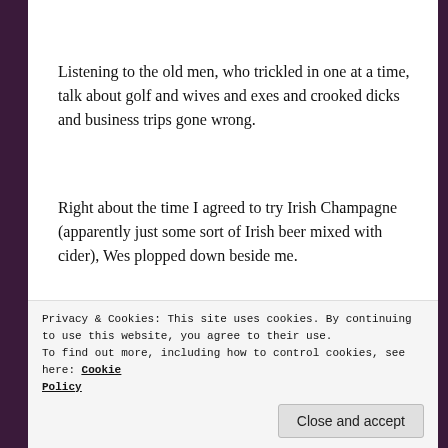Listening to the old men, who trickled in one at a time, talk about golf and wives and exes and crooked dicks and business trips gone wrong.
Right about the time I agreed to try Irish Champagne (apparently just some sort of Irish beer mixed with cider), Wes plopped down beside me.
[Figure (photo): Partially visible photograph, mostly dark with lighter area on the right side.]
Privacy & Cookies: This site uses cookies. By continuing to use this website, you agree to their use.
To find out more, including how to control cookies, see here: Cookie Policy